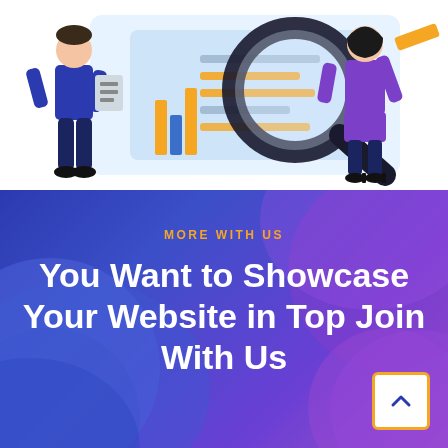[Figure (illustration): Flat design illustration showing two business people: a man in a blue suit holding a clipboard on the left, and a woman in purple top and dark pants holding a pencil/ruler on the right, with a large magnifying glass over a document/chart in the center. Light blue background panel behind the document.]
MORE WITH US
You Want to Showcase Your Website in Top Join With Us